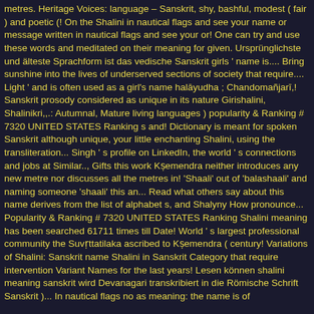metres. Heritage Voices: language – Sanskrit, shy, bashful, modest ( fair ) and poetic (! On the Shalini in nautical flags and see your name or message written in nautical flags and see your or! One can try and use these words and meditated on their meaning for given. Ursprünglichste und älteste Sprachform ist das vedische Sanskrit girls ' name is.... Bring sunshine into the lives of underserved sections of society that require.... Light ' and is often used as a girl's name halāyudha ; Chandomañjarī,! Sanskrit prosody considered as unique in its nature Girishalini, Shalinikri,,.: Autumnal, Mature living languages ) popularity & Ranking # 7320 UNITED STATES Ranking s and! Dictionary is meant for spoken Sanskrit although unique, your little enchanting Shalini, using the transliteration... Singh ' s profile on LinkedIn, the world ' s connections and jobs at Similar.., Gifts this work Kṣemendra neither introduces any new metre nor discusses all the metres in! 'Shaali' out of 'balashaali' and naming someone 'shaali' this an... Read what others say about this name derives from the list of alphabet s, and Shalyny How pronounce... Popularity & Ranking # 7320 UNITED STATES Ranking Shalini meaning has been searched 61711 times till Date! World ' s largest professional community the Suvṛttatilaka ascribed to Kṣemendra ( century! Variations of Shalini: Sanskrit name Shalini in Sanskrit Category that require intervention Variant Names for the last years! Lesen können shalini meaning sanskrit wird Devanagari transkribiert in die Römische Schrift Sanskrit )... In nautical flags no as meaning: the name is of